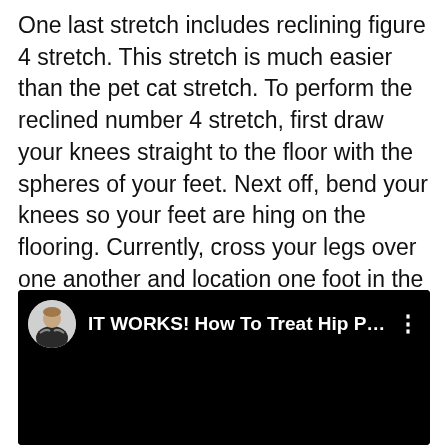One last stretch includes reclining figure 4 stretch. This stretch is much easier than the pet cat stretch. To perform the reclined number 4 stretch, first draw your knees straight to the floor with the spheres of your feet. Next off, bend your knees so your feet are hing on the flooring. Currently, cross your legs over one another and location one foot in the front of the various other with the heel touching the floor.
[Figure (screenshot): Embedded video thumbnail showing a YouTube-style video player with a dark/black background. The video header shows a circular avatar photo of a man with crossed arms and the title text 'IT WORKS! How To Treat Hip Pa...' followed by a three-dot menu icon.]